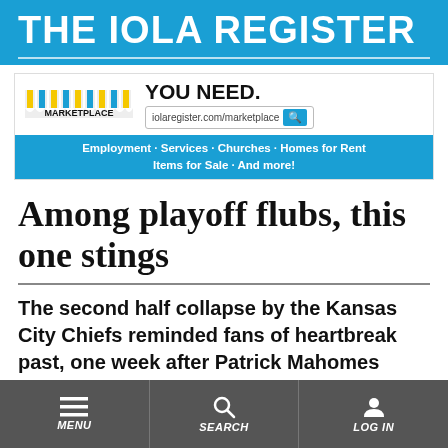THE IOLA REGISTER
[Figure (screenshot): Marketplace advertisement banner for iolaregister.com/marketplace showing awning logo, YOU NEED. tagline, URL bar, and categories: Employment · Services · Churches · Homes for Rent Items for Sale · And more!]
Among playoff flubs, this one stings
The second half collapse by the Kansas City Chiefs reminded fans of heartbreak past, one week after Patrick Mahomes
MENU   SEARCH   LOG IN